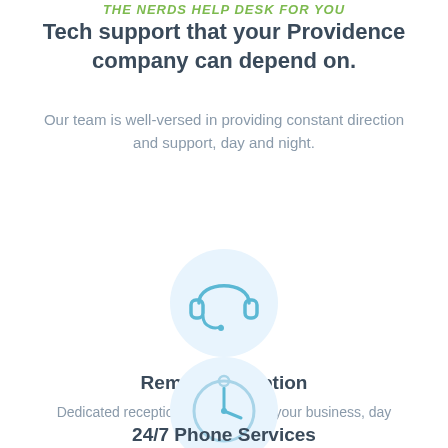The Nerds Help Desk for You
Tech support that your Providence company can depend on.
Our team is well-versed in providing constant direction and support, day and night.
[Figure (illustration): Circular light blue icon featuring a headset/headphones with microphone]
Remote Reception
Dedicated receptionist services for your business, day or night.
[Figure (illustration): Circular light blue icon featuring a clock]
24/7 Phone Services